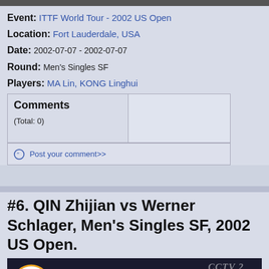Event: ITTF World Tour - 2002 US Open
Location: Fort Lauderdale, USA
Date: 2002-07-07 - 2002-07-07
Round: Men's Singles SF
Players: MA Lin, KONG Linghui
| Comments |  |
| --- | --- |
| (Total: 0) |  |
| Post your comment>> |  |
#6. QIN Zhijian vs Werner Schlager, Singles SF, 2002 US Open.
[Figure (screenshot): Video thumbnail showing AlexTT logo and text: QIN Zhijian (CHN) vs Werner Schlager (AUT), with CCTV 2 watermark]